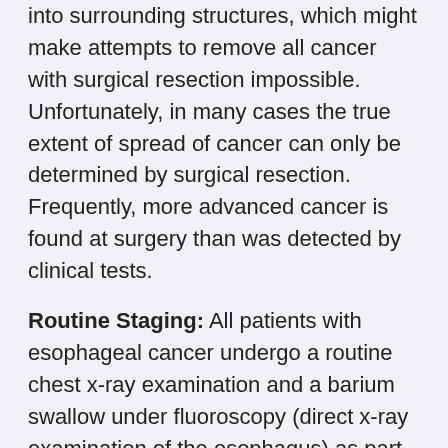into surrounding structures, which might make attempts to remove all cancer with surgical resection impossible. Unfortunately, in many cases the true extent of spread of cancer can only be determined by surgical resection. Frequently, more advanced cancer is found at surgery than was detected by clinical tests.
Routine Staging: All patients with esophageal cancer undergo a routine chest x-ray examination and a barium swallow under fluoroscopy (direct x-ray examination of the esophagus) as part of initial staging evaluation. All patients have computerized tomography (CT) scans of the chest, upper abdomen and possibly the neck. Unfortunately, there can be considerable error in CT scanning in detecting the extent of local spread of esophageal cancer but accuracy for detecting distant spread